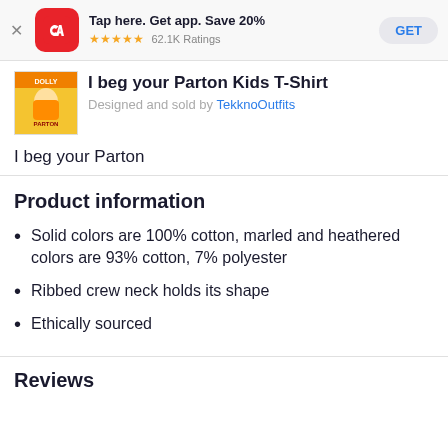Tap here. Get app. Save 20% ★★★★★ 62.1K Ratings GET
I beg your Parton Kids T-Shirt
Designed and sold by TekknoOutfits
I beg your Parton
Product information
Solid colors are 100% cotton, marled and heathered colors are 93% cotton, 7% polyester
Ribbed crew neck holds its shape
Ethically sourced
Reviews